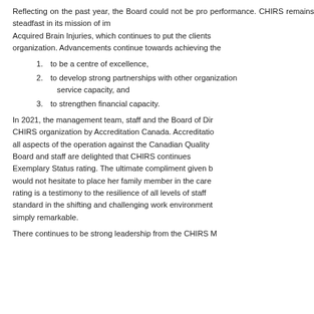Reflecting on the past year, the Board could not be proud of performance. CHIRS remains steadfast in its mission of in Acquired Brain Injuries, which continues to put the clients organization. Advancements continue towards achieving the
to be a centre of excellence,
to develop strong partnerships with other organizations service capacity, and
to strengthen financial capacity.
In 2021, the management team, staff and the Board of Dir CHIRS organization by Accreditation Canada. Accreditation all aspects of the operation against the Canadian Quality Board and staff are delighted that CHIRS continues Exemplary Status rating. The ultimate compliment given b would not hesitate to place her family member in the care rating is a testimony to the resilience of all levels of staff standard in the shifting and challenging work environment simply remarkable.
There continues to be strong leadership from the CHIRS M